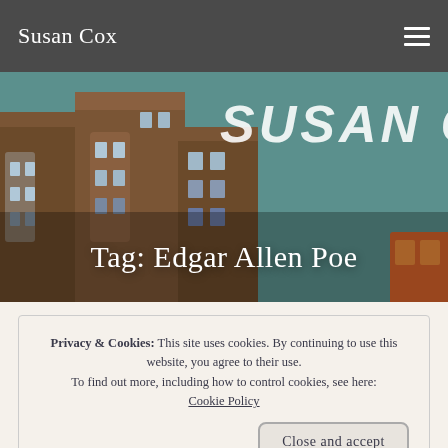Susan Cox
[Figure (illustration): Hero banner image showing illustrated brownstone buildings on the left with a teal/blue background. Large white text reads 'SUSAN COX' partially visible on the right. Overlaid text reads 'Tag: Edgar Allen Poe']
Tag: Edgar Allen Poe
Privacy & Cookies: This site uses cookies. By continuing to use this website, you agree to their use.
To find out more, including how to control cookies, see here: Cookie Policy
Close and accept